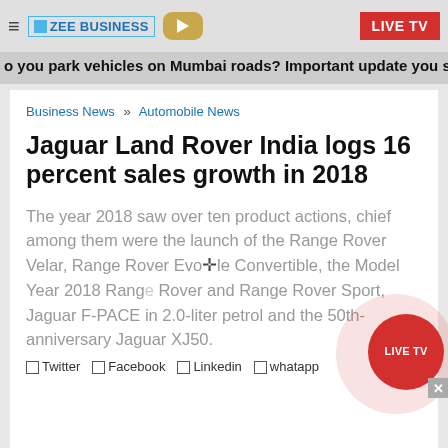ZEE BUSINESS | LIVE TV
o you park vehicles on Mumbai roads? Important update you shou
Business News » Automobile News
Jaguar Land Rover India logs 16 percent sales growth in 2018
The year 2018 saw over ten product actions, chief among them were the launch of the Range Rover Velar, Range Rover Evoque Convertible, the Model Year 2018 Range Rover and Range Rover Sport, Jaguar F-PACE in 2.0-liter petrol and the 50th-anniversary Jaguar XJ50.
Twitter   Facebook   Linkedin   whatapp